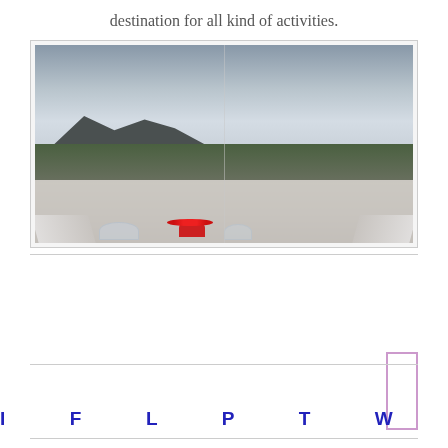destination for all kind of activities.
[Figure (photo): Panoramic rooftop photo showing a cityscape view with mountains in the background under a cloudy sky. In the foreground is a white table with wine glasses and a red flower vase, flanked by white chair backs.]
I  F  L  P  T  W  I